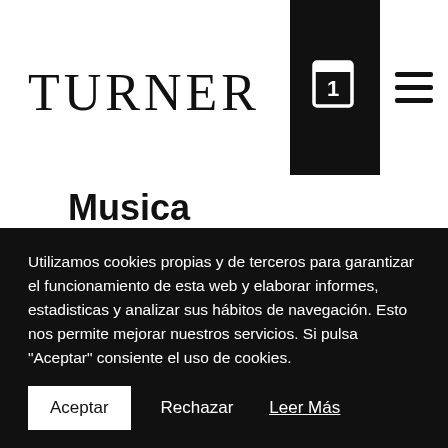TURNER
Musica
Mostrar filtros
introduce aquí el título de un producto...
Utilizamos cookies propias y de terceros para garantizar el funcionamiento de esta web y elaborar informes, estadisticas y analizar sus hábitos de navegación. Esto nos permite mejorar nuestros servicios. Si pulsa "Aceptar" consiente el uso de cookies.
Aceptar
Rechazar
Leer Más